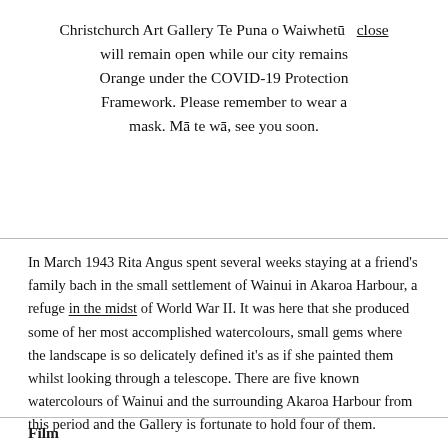Christchurch Art Gallery Te Puna o Waiwhetū will remain open while our city remains Orange under the COVID-19 Protection Framework. Please remember to wear a mask. Mā te wā, see you soon. close
In March 1943 Rita Angus spent several weeks staying at a friend's family bach in the small settlement of Wainui in Akaroa Harbour, a refuge in the midst of World War II. It was here that she produced some of her most accomplished watercolours, small gems where the landscape is so delicately defined it's as if she painted them whilst looking through a telescope. There are five known watercolours of Wainui and the surrounding Akaroa Harbour from this period and the Gallery is fortunate to hold four of them.
Film